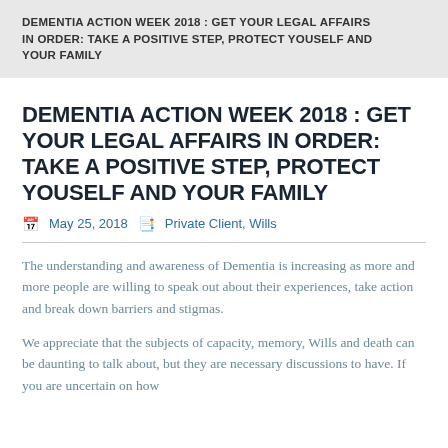DEMENTIA ACTION WEEK 2018 : GET YOUR LEGAL AFFAIRS IN ORDER: TAKE A POSITIVE STEP, PROTECT YOUSELF AND YOUR FAMILY
DEMENTIA ACTION WEEK 2018 : GET YOUR LEGAL AFFAIRS IN ORDER: TAKE A POSITIVE STEP, PROTECT YOUSELF AND YOUR FAMILY
May 25, 2018   Private Client, Wills
The understanding and awareness of Dementia is increasing as more and more people are willing to speak out about their experiences, take action and break down barriers and stigmas.
We appreciate that the subjects of capacity, memory, Wills and death can be daunting to talk about, but they are necessary discussions to have. If you are uncertain on how